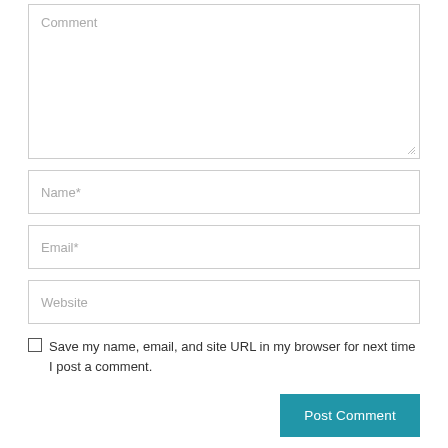Comment
Name*
Email*
Website
Save my name, email, and site URL in my browser for next time I post a comment.
Post Comment